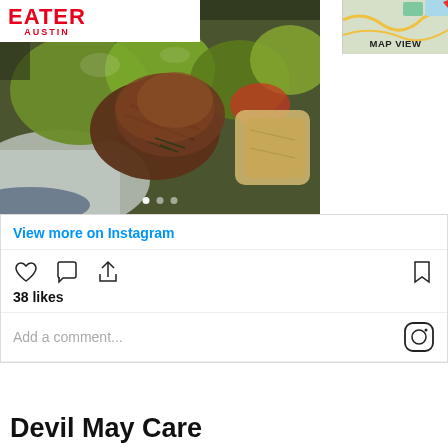EATER AUSTIN
MAP VIEW
[Figure (photo): Close-up photo of grilled meat (steak/kebab pieces) with green bell peppers, onions, and potatoes on a white plate. Instagram food photo with carousel dots at bottom.]
View more on Instagram
38 likes
Add a comment...
Devil May Care